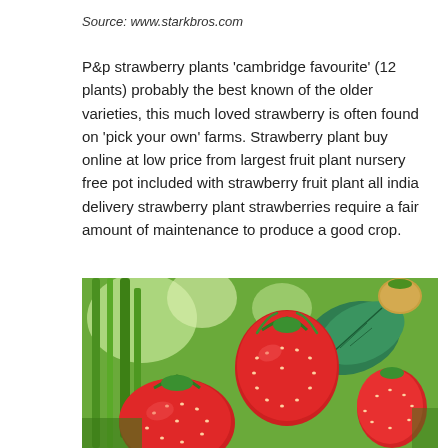Source: www.starkbros.com
P&p strawberry plants 'cambridge favourite' (12 plants) probably the best known of the older varieties, this much loved strawberry is often found on 'pick your own' farms. Strawberry plant buy online at low price from largest fruit plant nursery free pot included with strawberry fruit plant all india delivery strawberry plant strawberries require a fair amount of maintenance to produce a good crop.
[Figure (photo): Close-up photograph of ripe red strawberries on the plant with green leaves in the background]